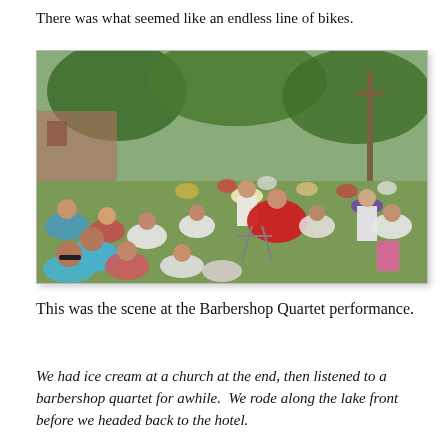There was what seemed like an endless line of bikes.
[Figure (photo): Outdoor crowd scene at a Barbershop Quartet performance. Many people sitting on grass under trees. In the center, a person in a cowboy hat and a figure wearing a large red dress/skirt costume are visible. Trees and buildings in background.]
This was the scene at the Barbershop Quartet performance.
We had ice cream at a church at the end, then listened to a barbershop quartet for awhile.  We rode along the lake front before we headed back to the hotel.